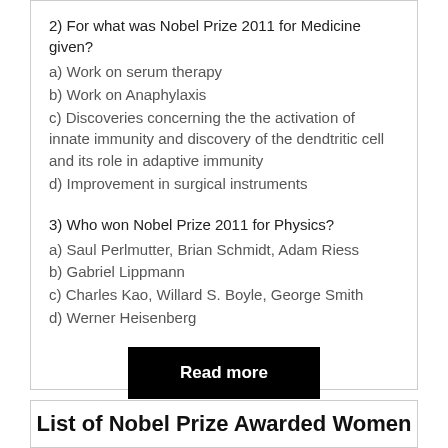2) For what was Nobel Prize 2011 for Medicine given?
a) Work on serum therapy
b) Work on Anaphylaxis
c) Discoveries concerning the the activation of innate immunity and discovery of the dendtritic cell and its role in adaptive immunity
d) Improvement in surgical instruments
3) Who won Nobel Prize 2011 for Physics?
a) Saul Perlmutter, Brian Schmidt, Adam Riess
b) Gabriel Lippmann
c) Charles Kao, Willard S. Boyle, George Smith
d) Werner Heisenberg
Read more
List of Nobel Prize Awarded Women